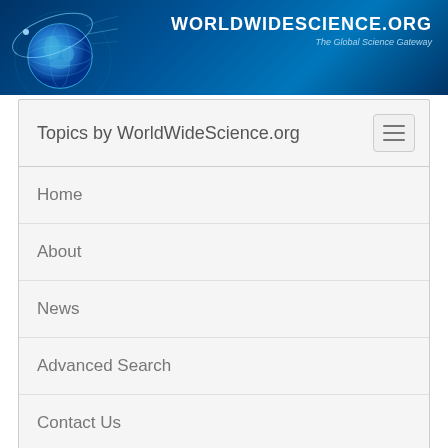[Figure (logo): WorldWideScience.org banner with globe graphic and site name on dark blue background]
Topics by WorldWideScience.org
Home
About
News
Advanced Search
Contact Us
Site Map
Help
Sample records for test site initiated